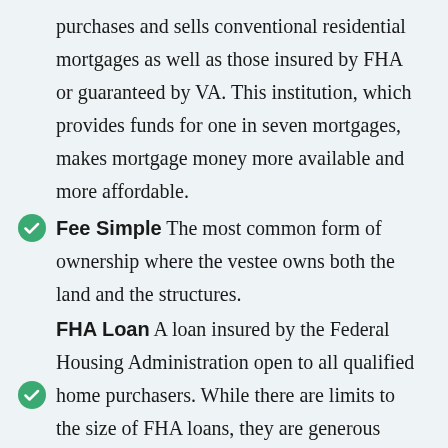purchases and sells conventional residential mortgages as well as those insured by FHA or guaranteed by VA. This institution, which provides funds for one in seven mortgages, makes mortgage money more available and more affordable.
Fee Simple The most common form of ownership where the vestee owns both the land and the structures.
FHA Loan A loan insured by the Federal Housing Administration open to all qualified home purchasers. While there are limits to the size of FHA loans, they are generous enough to handle moderate-priced homes almost anywhere in the country.